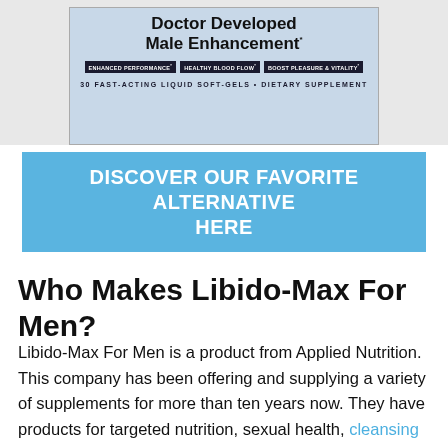[Figure (photo): Product box image of Libido-Max Doctor Developed Male Enhancement, 30 Fast-Acting Liquid Soft-Gels, Dietary Supplement by Applied Nutrition. Box shows tags: Enhanced Performance, Healthy Blood Flow, Boost Pleasure & Vitality.]
DISCOVER OUR FAVORITE ALTERNATIVE HERE
Who Makes Libido-Max For Men?
Libido-Max For Men is a product from Applied Nutrition. This company has been offering and supplying a variety of supplements for more than ten years now. They have products for targeted nutrition, sexual health, cleansing and weight loss.